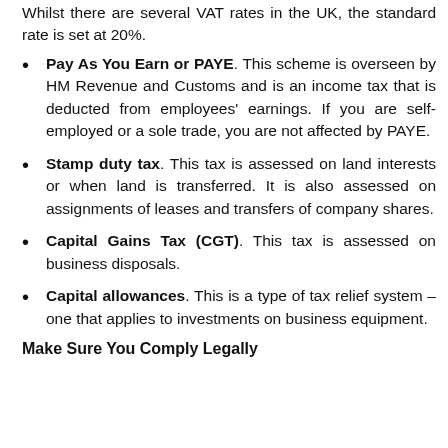Whilst there are several VAT rates in the UK, the standard rate is set at 20%.
Pay As You Earn or PAYE. This scheme is overseen by HM Revenue and Customs and is an income tax that is deducted from employees' earnings. If you are self-employed or a sole trade, you are not affected by PAYE.
Stamp duty tax. This tax is assessed on land interests or when land is transferred. It is also assessed on assignments of leases and transfers of company shares.
Capital Gains Tax (CGT). This tax is assessed on business disposals.
Capital allowances. This is a type of tax relief system – one that applies to investments on business equipment.
Make Sure You Comply Legally